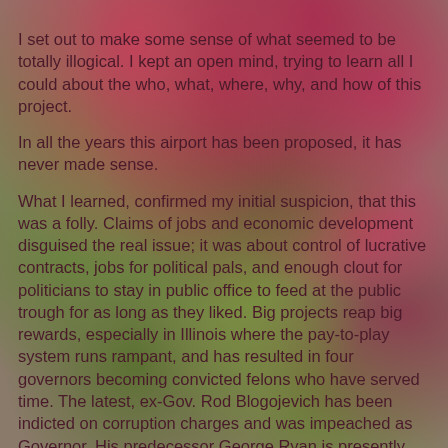I set out to make some sense of what seemed to be totally illogical. I kept an open mind, trying to learn all I could about the who, what, where, why, and how of this project.
In all the years this airport has been proposed, it has never made sense.
What I learned, confirmed my initial suspicion, that this was a folly. Claims of jobs and economic development disguised the real issue; it was about control of lucrative contracts, jobs for political pals, and enough clout for politicians to stay in public office to feed at the public trough for as long as they liked. Big projects reap big rewards, especially in Illinois where the pay-to-play system runs rampant, and has resulted in four governors becoming convicted felons who have served time. The latest, ex-Gov. Rod Blogojevich has been indicted on corruption charges and was impeached as Governor. His predecessor George Ryan is presently serving time in a federal penetentiary in Indiana.